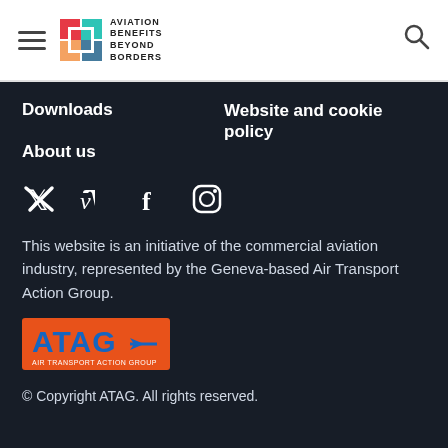Aviation Benefits Beyond Borders
Downloads
Website and cookie policy
About us
[Figure (illustration): Social media icons: Twitter, Vimeo, Facebook, Instagram]
This website is an initiative of the commercial aviation industry, represented by the Geneva-based Air Transport Action Group.
[Figure (logo): ATAG - Air Transport Action Group logo with orange background and blue text]
© Copyright ATAG. All rights reserved.